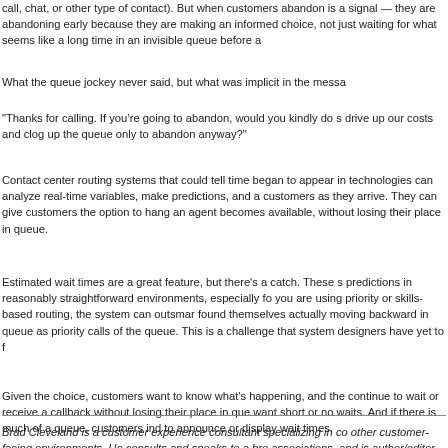call, chat, or other type of contact). But when customers abandon is a signal — they are abandoning early because they are making an informed choice, not just waiting for what seems like a long time in an invisible queue before abandoning.
What the queue jockey never said, but what was implicit in the message:
"Thanks for calling. If you're going to abandon, would you kindly do so early and not drive up our costs and clog up the queue only to abandon anyway?"
Contact center routing systems that could tell time began to appear in the 1990s. These technologies can analyze real-time variables, make predictions, and a announce wait times to customers as they arrive. They can give customers the option to hang up and be called when an agent becomes available, without losing their place in queue.
Estimated wait times are a great feature, but there's a catch. These systems make good predictions in reasonably straightforward environments, especially for priority routing. But when you are using priority or skills-based routing, the system can outsmart itself. Customers have found themselves actually moving backward in queue as priority calls or skills jumped them to the head of the queue. This is a challenge that system designers have yet to fully solve.
Given the choice, customers want to know what's happening, and they want the option to continue to wait or receive a callback without losing their place in queue. They also increasingly want short or no waits. And if there is much of a queue, customers increasingly expect businesses to announce or display wait times.
Brad Cleveland is a customer experience consultant specializing in contact centers and other customer-facing environments. He consults and speaks to a broad range of industries and associations, and is author/editor of nine books including Contact Center Management...